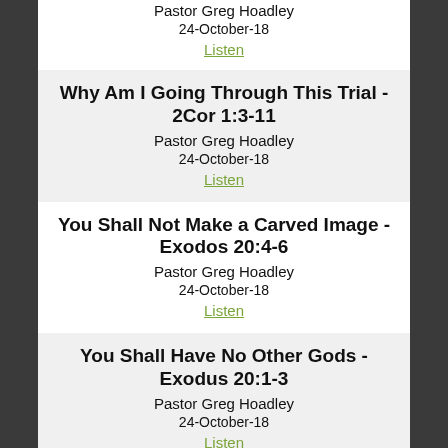Pastor Greg Hoadley
24-October-18
Listen
Why Am I Going Through This Trial - 2Cor 1:3-11
Pastor Greg Hoadley
24-October-18
Listen
You Shall Not Make a Carved Image - Exodos 20:4-6
Pastor Greg Hoadley
24-October-18
Listen
You Shall Have No Other Gods - Exodus 20:1-3
Pastor Greg Hoadley
24-October-18
Listen
What Does Jesus Christ Mean to You